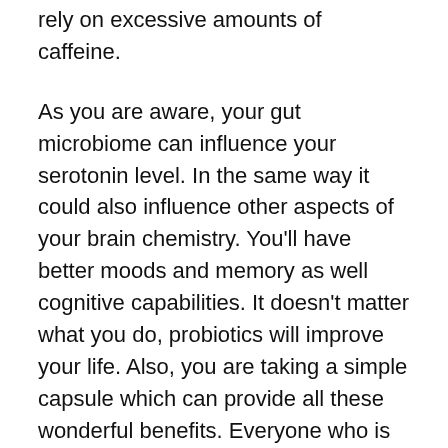rely on excessive amounts of caffeine.
As you are aware, your gut microbiome can influence your serotonin level. In the same way it could also influence other aspects of your brain chemistry. You'll have better moods and memory as well cognitive capabilities. It doesn't matter what you do, probiotics will improve your life. Also, you are taking a simple capsule which can provide all these wonderful benefits. Everyone who is living an active lifestyle must consider probiotics.
Another great thing is that probiotics are entirely organic and can help promote natural functions in your body. Many people who are interested in improving their health turn to natural